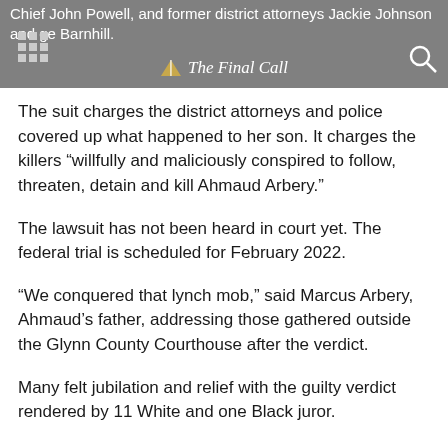Chief John Powell, and former district attorneys Jackie Johnson and George Barnhill. The Final Call
The suit charges the district attorneys and police covered up what happened to her son. It charges the killers “willfully and maliciously conspired to follow, threaten, detain and kill Ahmaud Arbery.”
The lawsuit has not been heard in court yet. The federal trial is scheduled for February 2022.
“We conquered that lynch mob,” said Marcus Arbery, Ahmaud’s father, addressing those gathered outside the Glynn County Courthouse after the verdict.
Many felt jubilation and relief with the guilty verdict rendered by 11 White and one Black juror.
The outcome was never guaranteed with defense attorneys lobbing appeals to race at jurors through complaints of “intimidating” Black